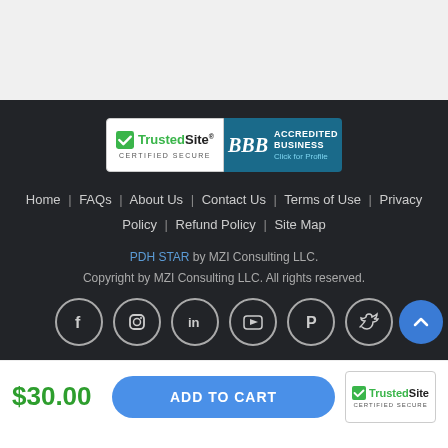[Figure (screenshot): Top white/gray section of webpage]
[Figure (logo): TrustedSite Certified Secure badge and BBB Accredited Business badge]
Home | FAQs | About Us | Contact Us | Terms of Use | Privacy Policy | Refund Policy | Site Map
PDH STAR by MZI Consulting LLC.
Copyright by MZI Consulting LLC. All rights reserved.
[Figure (infographic): Social media icons row: Facebook, Instagram, LinkedIn, YouTube, Pinterest, Twitter. Blue scroll-to-top button at right.]
$30.00
ADD TO CART
[Figure (logo): TrustedSite Certified Secure badge in bottom bar]